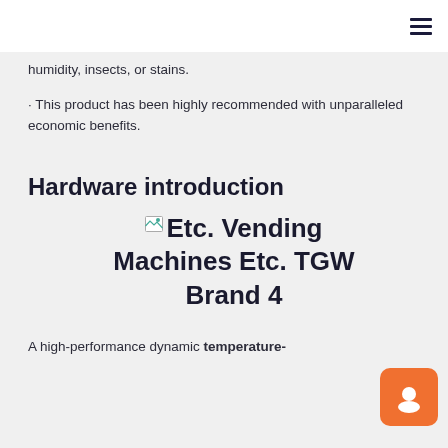humidity, insects, or stains.
· This product has been highly recommended with unparalleled economic benefits.
Hardware introduction
[Figure (illustration): Broken image placeholder with alt text 'Etc. Vending Machines Etc. TGW Brand 4' displayed as large bold text]
A high-performance dynamic temperature-